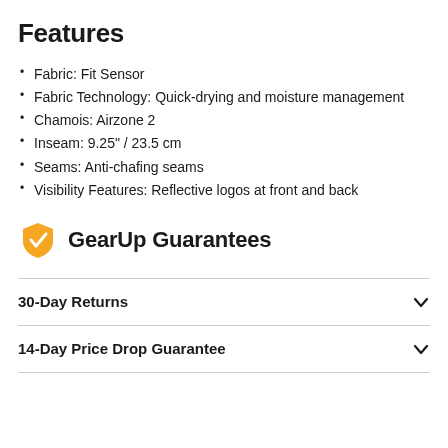Features
Fabric: Fit Sensor
Fabric Technology: Quick-drying and moisture management
Chamois: Airzone 2
Inseam: 9.25" / 23.5 cm
Seams: Anti-chafing seams
Visibility Features: Reflective logos at front and back
GearUp Guarantees
30-Day Returns
14-Day Price Drop Guarantee